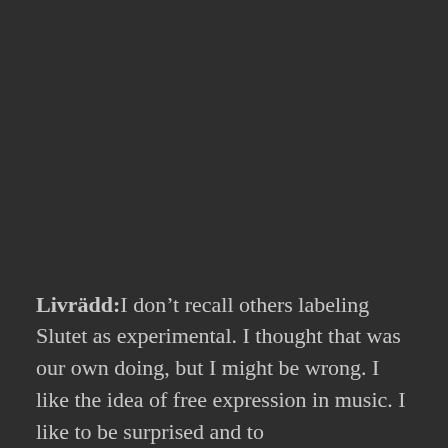Livrädd: I don't recall others labeling Slutet as experimental. I thought that was our own doing, but I might be wrong. I like the idea of free expression in music. I like to be surprised and to